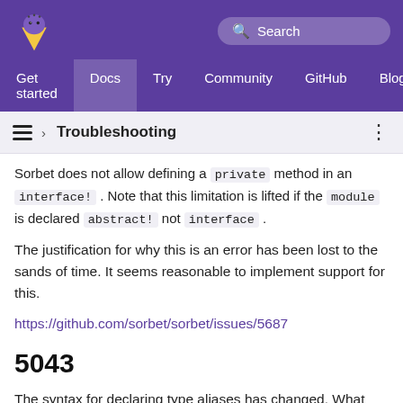Get started | Docs | Try | Community | GitHub | Blog
› Troubleshooting
Sorbet does not allow defining a private method in an interface! . Note that this limitation is lifted if the module is declared abstract! not interface .
The justification for why this is an error has been lost to the sands of time. It seems reasonable to implement support for this.
https://github.com/sorbet/sorbet/issues/5687
5043
The syntax for declaring type aliases has changed. What